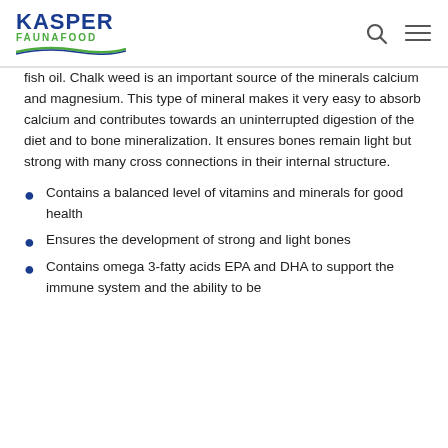KASPER FAUNAFOOD
fish oil. Chalk weed is an important source of the minerals calcium and magnesium. This type of mineral makes it very easy to absorb calcium and contributes towards an uninterrupted digestion of the diet and to bone mineralization. It ensures bones remain light but strong with many cross connections in their internal structure.
Contains a balanced level of vitamins and minerals for good health
Ensures the development of strong and light bones
Contains omega 3-fatty acids EPA and DHA to support the immune system and the ability to be